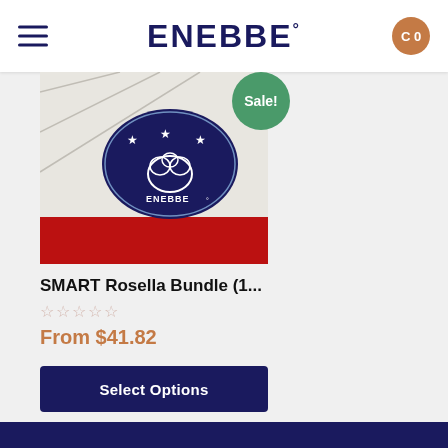ENEBBE°
[Figure (photo): Product photo showing ENEBBE branded packaging with a dark blue oval logo featuring stars and a sheep illustration, on a white background with a red strip. Sale badge in green circle.]
SMART Rosella Bundle (1...
☆☆☆☆☆
From $41.82
Select Options